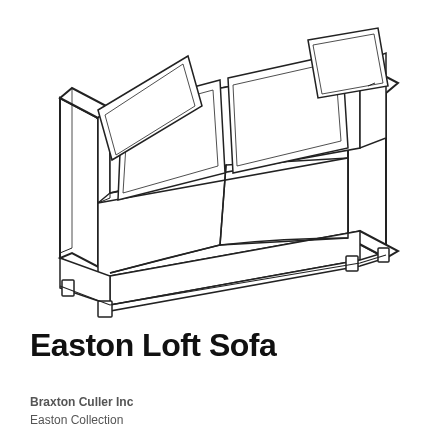[Figure (illustration): Line drawing of the Easton Loft Sofa showing a three-quarter perspective view of a two-seat sofa with square arms, two seat cushions, two back cushions, and two decorative throw pillows. The sofa has a clean, modern silhouette rendered in black outline on white background.]
Easton Loft Sofa
Braxton Culler Inc
Easton Collection